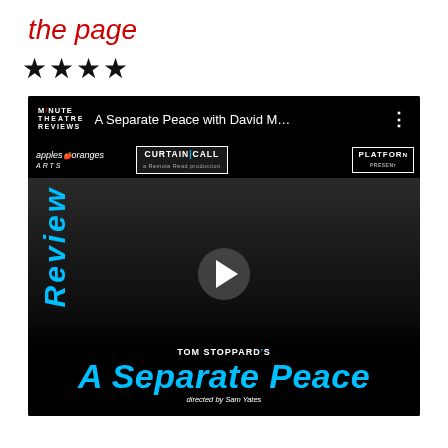the page
★★★★
[Figure (screenshot): YouTube video thumbnail/preview for 'A Separate Peace with David M...' from Minute Theatre Reviews channel. The image shows a black and white promotional photo collage of six actors against a black background. Sponsor logos visible: apples&oranges ARTS, CURTAIN CALL (a Remote Read production), PLATFORM PRESENT. A 'Review' text appears vertically on the left in blue. A play button is centered. At the bottom: 'TOM STOPPARD's' in white, 'A Separate Peace' in large blue italic text, 'directed by Sam Yates' below. The video title bar reads 'A Separate Peace with David M...' with three-dot menu.]